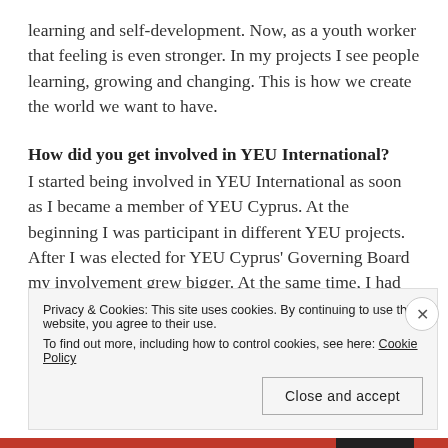learning and self-development. Now, as a youth worker that feeling is even stronger. In my projects I see people learning, growing and changing. This is how we create the world we want to have.
How did you get involved in YEU International?
I started being involved in YEU International as soon as I became a member of YEU Cyprus. At the beginning I was participant in different YEU projects. After I was elected for YEU Cyprus' Governing Board my involvement grew bigger. At the same time, I had the chance to be a facilitator in different YEU projects and then became also a member of the PET. After the crucial decision to decide youth work
Privacy & Cookies: This site uses cookies. By continuing to use this website, you agree to their use.
To find out more, including how to control cookies, see here: Cookie Policy
Close and accept